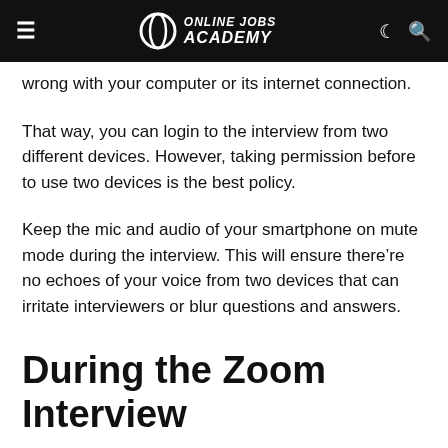Online Jobs Academy
wrong with your computer or its internet connection.
That way, you can login to the interview from two different devices. However, taking permission before to use two devices is the best policy.
Keep the mic and audio of your smartphone on mute mode during the interview. This will ensure there’re no echoes of your voice from two devices that can irritate interviewers or blur questions and answers.
During the Zoom Interview